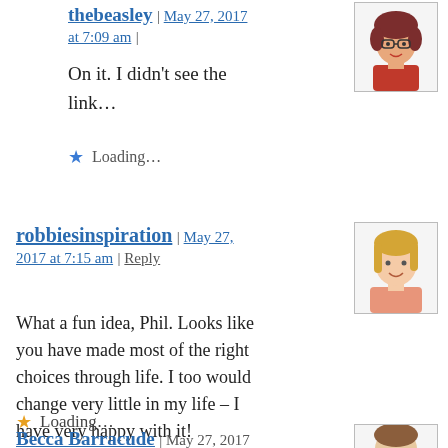thebeasley | May 27, 2017 at 7:09 am |
On it. I didn't see the link...
Loading...
robbiesinspiration | May 27, 2017 at 7:15 am | Reply
What a fun idea, Phil. Looks like you have made most of the right choices through life. I too would change very little in my life – I have very happy with it!
Loading...
Becca Barracude | May 27, 2017